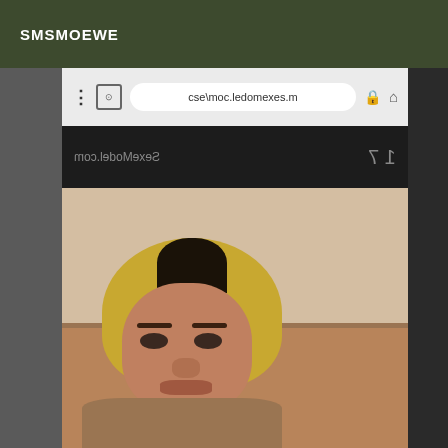SMSMOEWE
[Figure (screenshot): Screenshot of a mobile browser showing a website (m.sexemodel.com/esc) with a photo of a blonde woman]